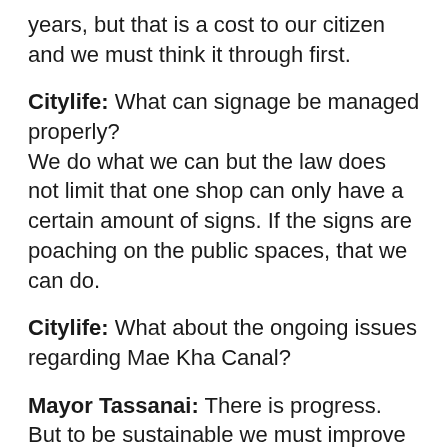years, but that is a cost to our citizen and we must think it through first.
Citylife: What can signage be managed properly?
We do what we can but the law does not limit that one shop can only have a certain amount of signs. If the signs are poaching on the public spaces, that we can do.
Citylife: What about the ongoing issues regarding Mae Kha Canal?
Mayor Tassanai: There is progress. But to be sustainable we must improve the waste water system, which we have started to do. We have added sources for fresh water, we have dredged the canals and what is important is to